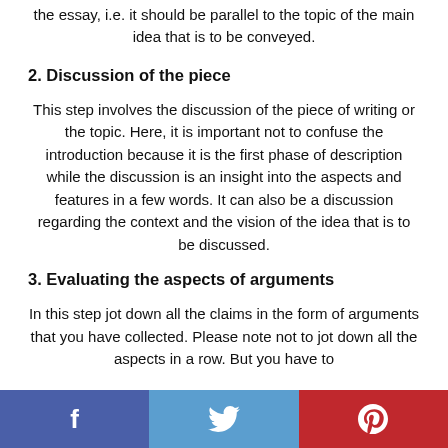the essay, i.e. it should be parallel to the topic of the main idea that is to be conveyed.
2. Discussion of the piece
This step involves the discussion of the piece of writing or the topic. Here, it is important not to confuse the introduction because it is the first phase of description while the discussion is an insight into the aspects and features in a few words. It can also be a discussion regarding the context and the vision of the idea that is to be discussed.
3. Evaluating the aspects of arguments
In this step jot down all the claims in the form of arguments that you have collected. Please note not to jot down all the aspects in a row. But you have to
f  (Twitter bird icon)  (Pinterest icon)